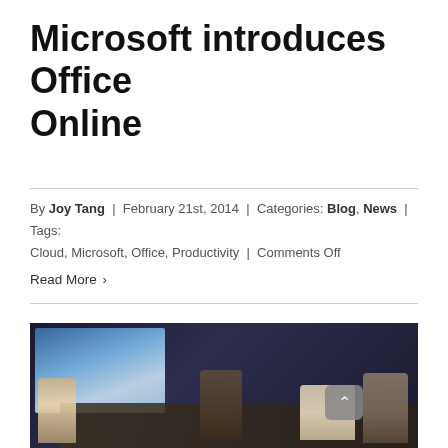Microsoft introduces Office Online
By Joy Tang | February 21st, 2014 | Categories: Blog, News | Tags: Cloud, Microsoft, Office, Productivity | Comments Off
Read More ›
[Figure (photo): People seated around a conference table in a dark room, with a large projection screen showing a blue presentation slide on the left. A back-to-top button (chevron up on grey background) is visible in the lower right.]